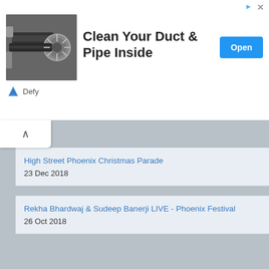[Figure (screenshot): Advertisement banner for 'Clean Your Duct & Pipe Inside' by Defy, with image of duct cleaning equipment and an Open button]
High Street Phoenix Christmas Parade
23 Dec 2018
Rekha Bhardwaj & Sudeep Banerji LIVE - Phoenix Festival
26 Oct 2018
Good Vibes : Craft Beer & Food Truck Festival
17 Nov 2018 to 18 Nov 2018
World on a Plate Masterclass - Meet & Greet Ben Ungermann at High Street Phoenix
6 Oct 2018
Dessert Masterclass by Celebrity Chef Sarah Todd